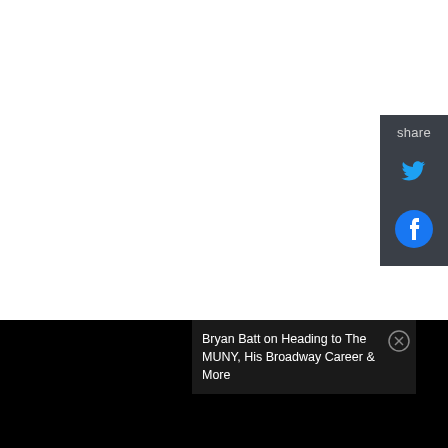[Figure (screenshot): White blank area - webpage content area]
share
[Figure (logo): Twitter bird icon in blue]
[Figure (logo): Facebook circle icon in blue]
[Figure (screenshot): Black video player area at bottom]
Bryan Batt on Heading to The MUNY, His Broadway Career & More
[Figure (other): Close (X) button circle]